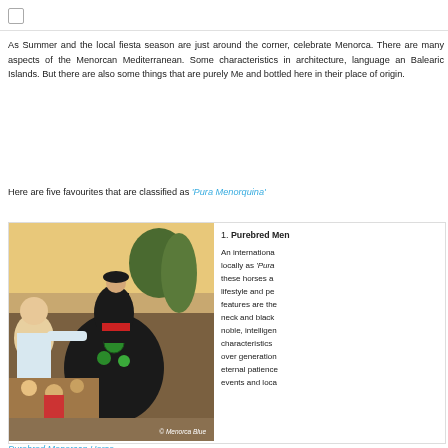As Summer and the local fiesta season are just around the corner, celebrate Menorca. There are many aspects of the Menorcan Mediterranean. Some characteristics in architecture, language and Balearic Islands. But there are also some things that are purely Me and bottled here in their place of origin.
Here are five favourites that are classified as 'Pura Menorquina'
[Figure (photo): A black Menorcan horse decorated with green ribbons at a fiesta, with a rider in traditional Menorcan black costume including a black beret. A smiling older man in white shirt reaches out to touch the horse on the left, surrounded by a crowd including children. Photo credit: © Menorca Blue]
1. Purebred Menorcan Horse. An internationally locally as 'Pura these horses a lifestyle and pe features are the neck and black noble, intelligen characteristics over generation eternal patience events and loca
Purebred Menorcan Horse